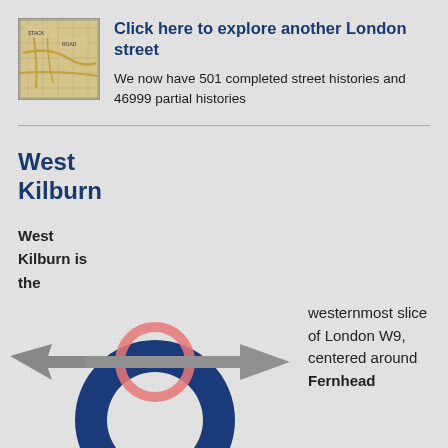[Figure (illustration): Small vintage London street map thumbnail image]
Click here to explore another London street
We now have 501 completed street histories and 46999 partial histories
West Kilburn
West Kilburn is the
[Figure (illustration): London Underground roundel logo with arrow passing through it horizontally (grey arrow left and right, pink circle ring, large dark blue semicircle at bottom)]
westernmost slice of London W9, centered around Fernhead